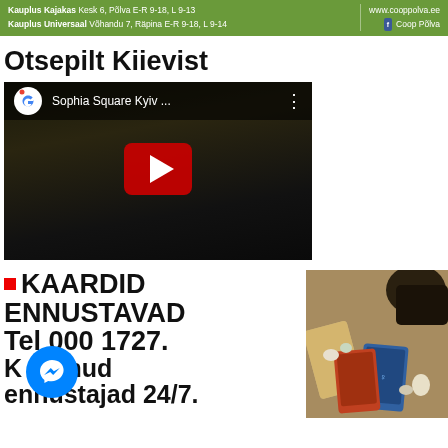Kauplus Kajakas Kesk 6, Põlva E-R 9-18, L 9-13 | www.cooppolva.ee
Kauplus Universaal Võhandu 7, Räpina E-R 9-18, L 9-14 | Coop Põlva
Otsepilt Kiievist
[Figure (screenshot): YouTube/Google video thumbnail showing 'Sophia Square Kyiv ...' with play button]
■ KAARDID ENNUSTAVAD Tel 000 1727. Kogenud ennustajad 24/7.
[Figure (photo): Photo of tarot cards and mystical objects spread on a table]